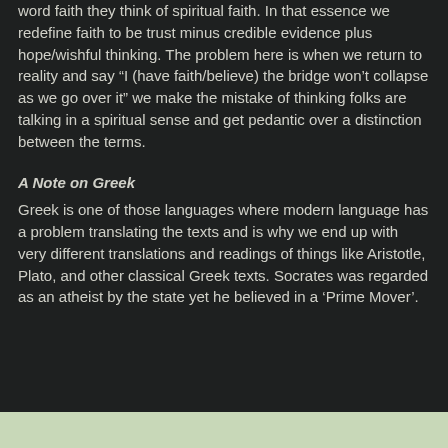word faith they think of spiritual faith. In that essence we redefine faith to be trust minus credible evidence plus hope/wishful thinking. The problem here is when we return to reality and say “I (have faith/believe) the bridge won’t collapse as we go over it” we make the mistake of thinking folks are talking in a spiritual sense and get pedantic over a distinction between the terms.
A Note on Greek
Greek is one of those languages where modern language has a problem translating the texts and is why we end up with very different translations and readings of things like Aristotle, Plato, and other classical Greek texts. Socrates was regarded as an atheist by the state yet he believed in a ‘Prime Mover’.